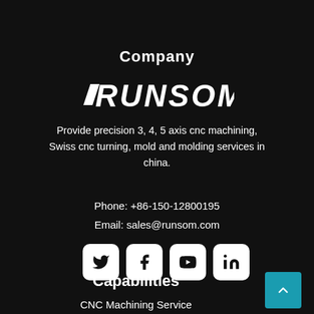Company
[Figure (logo): RUNSOM company logo in white bold stylized text on dark background]
Provide precision 3, 4, 5 axis cnc machining, Swiss cnc turning, mold and molding services in china.
Phone: +86-150-12800195
Email: sales@runsom.com
[Figure (illustration): Four social media icon buttons (Twitter, Facebook, YouTube, LinkedIn) with white rounded-rectangle backgrounds and black icons]
Capabilities
CNC Machining Service